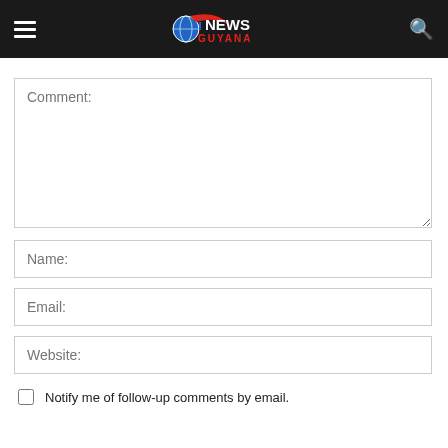iNEWS GUYANA
Comment:
Name:
Email:
Website:
Notify me of follow-up comments by email.